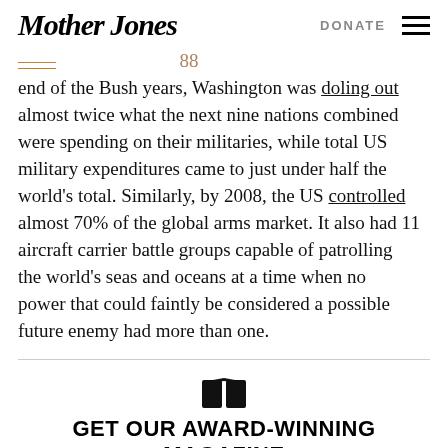Mother Jones | DONATE
end of the Bush years, Washington was doling out almost twice what the next nine nations combined were spending on their militaries, while total US military expenditures came to just under half the world's total. Similarly, by 2008, the US controlled almost 70% of the global arms market. It also had 11 aircraft carrier battle groups capable of patrolling the world's seas and oceans at a time when no power that could faintly be considered a possible future enemy had more than one.
GET OUR AWARD-WINNING MAGAZINE